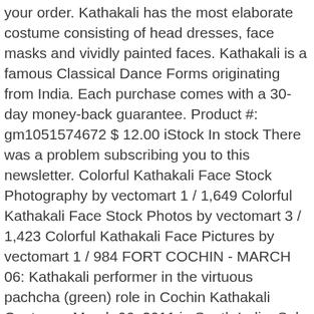your order. Kathakali has the most elaborate costume consisting of head dresses, face masks and vividly painted faces. Kathakali is a famous Classical Dance Forms originating from India. Each purchase comes with a 30-day money-back guarantee. Product #: gm1051574672 $ 12.00 iStock In stock There was a problem subscribing you to this newsletter. Colorful Kathakali Face Stock Photography by vectomart 1 / 1,649 Colorful Kathakali Face Stock Photos by vectomart 3 / 1,423 Colorful Kathakali Face Pictures by vectomart 1 / 984 FORT COCHIN - MARCH 06: Kathakali performer in the virtuous pachcha (green) role in Cochin Kathakali Center on March 06, 2011 in South India. Sale Price £343.78 Kathakali is one of the major forms of classical Indian dance. My package didn't arrive by my delivery date. Kathakali is one of the major forms of classical Indian dance. Discover the world of art & craft with ArtZolo.com. Thanks so much!!! Do you accept commissions to create a new painting? Kathakali painting a famous character of the Kathakali theater as a painting in a shop in the Jew quarter Saree Painting Art Drawings Beautiful